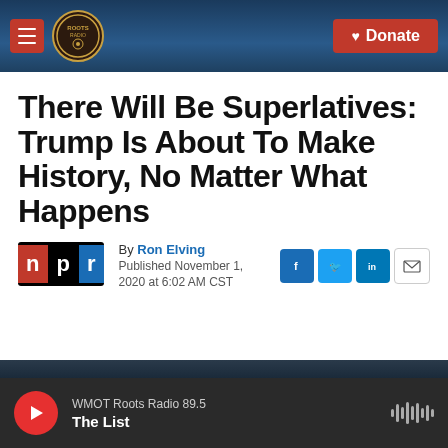[Figure (screenshot): Website header with hamburger menu button, Roots Radio logo, and red Donate button on a dark blue background with guitar imagery]
There Will Be Superlatives: Trump Is About To Make History, No Matter What Happens
By Ron Elving
Published November 1, 2020 at 6:02 AM CST
[Figure (logo): NPR logo with n in red, p in black, r in blue]
[Figure (infographic): Social share icons: Facebook, Twitter, LinkedIn, email]
[Figure (screenshot): Dark banner/photo strip at bottom of article area]
WMOT Roots Radio 89.5
The List